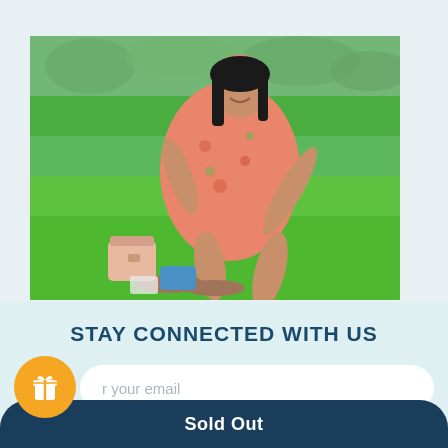[Figure (photo): Woman in pink floral dress sitting on green grass in a park, with sandals and a pink handbag beside her. Navigation bar with search icon visible at top.]
STAY CONNECTED WITH US
r your email
Sold Out